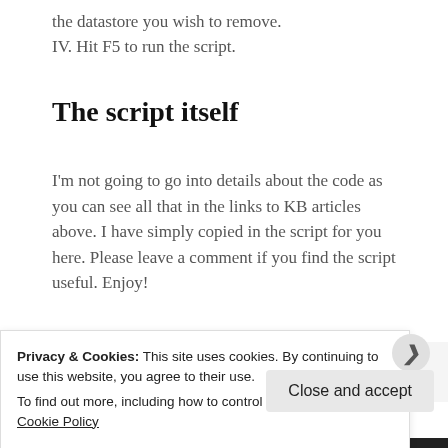the datastore you wish to remove.
IV. Hit F5 to run the script.
The script itself
I'm not going to go into details about the code as you can see all that in the links to KB articles above. I have simply copied in the script for you here. Please leave a comment if you find the script useful. Enjoy!
########################################
Privacy & Cookies: This site uses cookies. By continuing to use this website, you agree to their use.
To find out more, including how to control cookies, see here: Cookie Policy
Close and accept